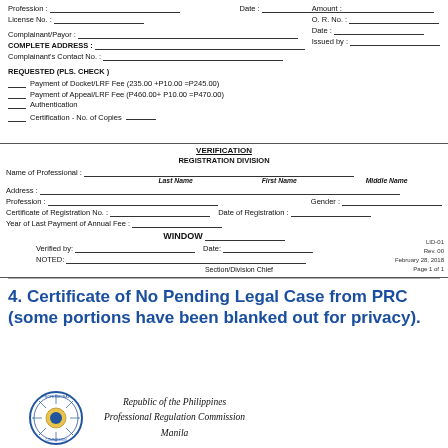[Figure (other): Verification/Registration Division form (top portion of PRC document) showing fields for Profession, License No., Date, Complainant/Payor, Complete Address, Contact No., Requested section with payment options for Docket/LRF Fee and Appeal/LRF Fee, Authentication, Certification. Verification section with Name of Professional (Last, First, Middle), Address, Profession, Gender, Certificate of Registration No., Date of Registration, Year of Last Payment of Annual Fee, WINDOW, Verified by, Date, Noted (Section/Division Chief). Reference: LID-01 Rev. 00 February 28, 2018 Page 1 of 1.]
4. Certificate of No Pending Legal Case from PRC  (some portions have been blanked out for privacy).
[Figure (logo): PRC seal/logo circle with text Republic of the Philippines, Professional Regulation Commission, Manila]